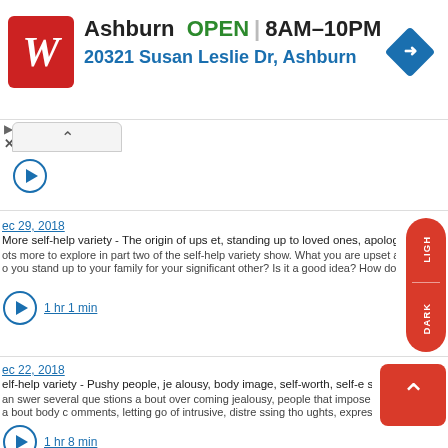[Figure (screenshot): Walgreens advertisement banner showing store location in Ashburn, OPEN 8AM-10PM, address 20321 Susan Leslie Dr, Ashburn, with navigation icon]
Dec 29, 2018
More self-help variety - The origin of upset, standing up to loved ones, apologies and forgiveness, shame and a
lots more to explore in part two of the self-help variety show. What you are upset about has an origin from the p do you stand up to your family for your significant other? Is it a good idea? How do you handle apolo d for
1 hr 1 min
Dec 22, 2018
self-help variety - Pushy people, jealousy, body image, self-worth, self-esteem, intrusive thought
answer several questions about overcoming jealousy, people that impose their values on you, s d s about body comments, letting go of intrusive, distressing thoughts, expressing yourself and mor rie
1 hr 8 min